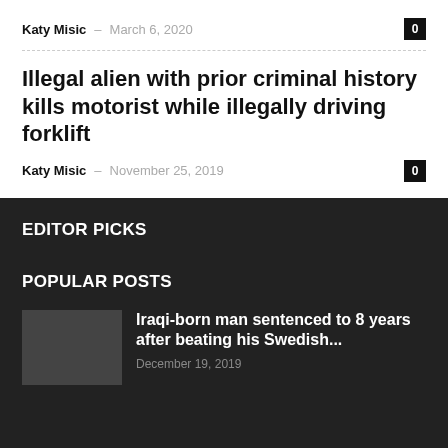Katy Misic – March 6, 2020
Illegal alien with prior criminal history kills motorist while illegally driving forklift
Katy Misic – November 25, 2019
EDITOR PICKS
POPULAR POSTS
Iraqi-born man sentenced to 8 years after beating his Swedish... December 19, 2019